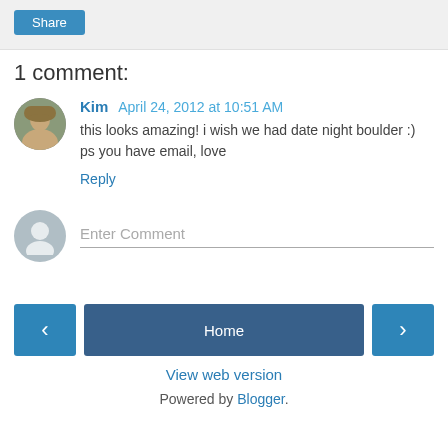[Figure (other): Share button on grey background bar]
1 comment:
[Figure (photo): Profile photo of commenter Kim - young woman with hat]
Kim April 24, 2012 at 10:51 AM
this looks amazing! i wish we had date night boulder :) ps you have email, love
Reply
[Figure (other): Default grey user avatar icon for comment input]
Enter Comment
[Figure (other): Navigation bar with left arrow button, Home button, right arrow button]
View web version
Powered by Blogger.